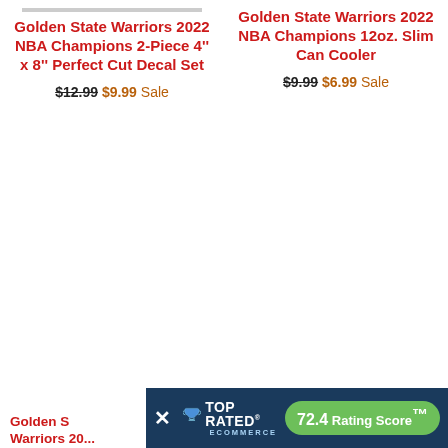[Figure (photo): Product image placeholder for Golden State Warriors 2022 NBA Champions 2-Piece 4'' x 8'' Perfect Cut Decal Set]
Golden State Warriors 2022 NBA Champions 2-Piece 4'' x 8'' Perfect Cut Decal Set
$12.99 $9.99 Sale
Golden State Warriors 2022 NBA Champions 12oz. Slim Can Cooler
$9.99 $6.99 Sale
Golden State Warriors 20...
[Figure (logo): Top Rated Ecommerce badge with 72.4 Rating Score]
72.4 Rating Score™